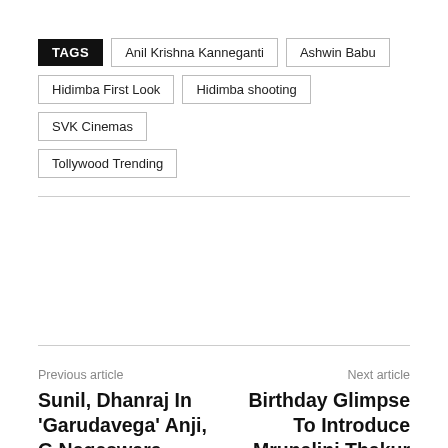TAGS  Anil Krishna Kanneganti  Ashwin Babu  Hidimba First Look  Hidimba shooting  SVK Cinemas  Tollywood Trending
Previous article
Next article
Sunil, Dhanraj In 'Garudavega' Anji, G Nageswara Reddy Team Work Production No 2 'Bujji ilaa Raa' Title Poster Out
Birthday Glimpse To Introduce Mrunalini Thakur As 'Lieutenant' RAM's Sita In Dulquer Salmaan's Film